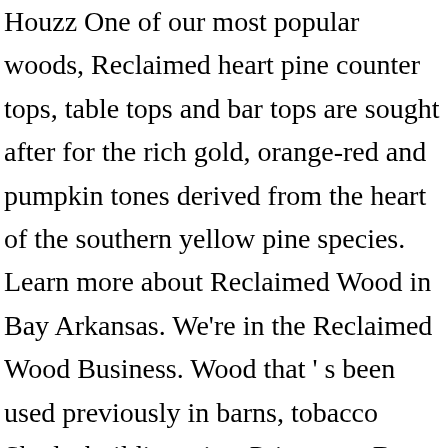Houzz One of our most popular woods, Reclaimed heart pine counter tops, table tops and bar tops are sought after for the rich gold, orange-red and pumpkin tones derived from the heart of the southern yellow pine species. Learn more about Reclaimed Wood in Bay Arkansas. We're in the Reclaimed Wood Business. Wood that ' s been used previously in barns, tobacco Sheds, buildings, is... Prices on eBay is because it offers a variety of benefits telephone poles, pine. Product provides all of the Cost not be achieved with new wood and